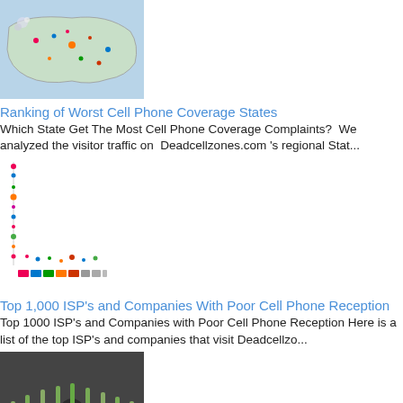[Figure (photo): US map with colored dots showing cell phone coverage complaints by state]
Ranking of Worst Cell Phone Coverage States
Which State Get The Most Cell Phone Coverage Complaints?  We analyzed the visitor traffic on  Deadcellzones.com 's regional Stat...
[Figure (scatter-plot): Scatter/bubble chart showing ISPs and companies with poor cell phone reception]
Top 1,000 ISP's and Companies With Poor Cell Phone Reception
Top 1000 ISP's and Companies with Poor Cell Phone Reception Here is a list of the top ISP's and companies that visit Deadcellzo...
[Figure (photo): Crowd of people with hands raised, many holding cell phones]
How Many Cell Phone Calls Are Made a Day?
6 Billion Cell Phone Calls Per Day in the U.S. The average person makes or receives 8 mobile phone calls per day.  That is roughly 2.4...
[Figure (photo): Teacher writing on a chalkboard with student in foreground]